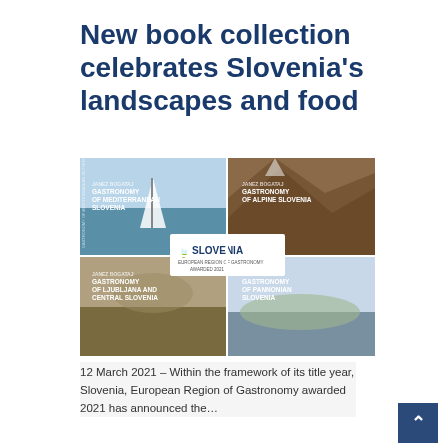New book collection celebrates Slovenia's landscapes and food
[Figure (photo): Four book covers arranged in a 2x2 grid showing 'Gastronomy of Mediterranean Slovenia', 'Gastronomy of Alpine Slovenia', 'Gastronomy of Ljubljana and Central Slovenia', and 'Gastronomy of Pannonian Slovenia', with a Slovenia European Region of Gastronomy Awards 2021 logo badge in the center.]
12 March 2021 – Within the framework of its title year, Slovenia, European Region of Gastronomy awarded 2021 has announced the…